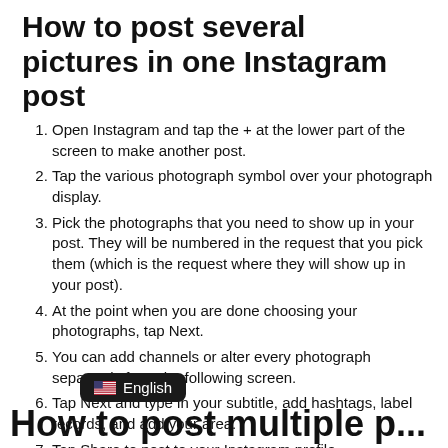How to post several pictures in one Instagram post
Open Instagram and tap the + at the lower part of the screen to make another post.
Tap the various photograph symbol over your photograph display.
Pick the photographs that you need to show up in your post. They will be numbered in the request that you pick them (which is the request where they will show up in your post).
At the point when you are done choosing your photographs, tap Next.
You can add channels or alter every photograph separately from the following screen.
Tap Next and type in your subtitle, add hashtags, label records, and add your area.
Tap Share to post to your Instagram profile.